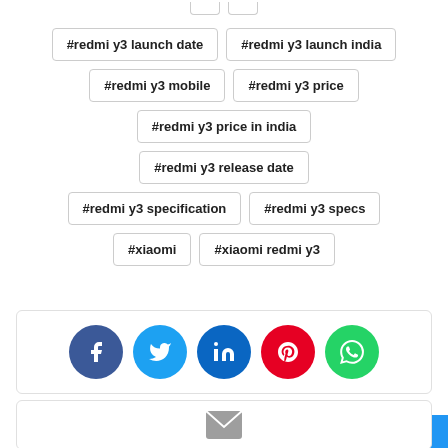#redmi y3 launch date
#redmi y3 launch india
#redmi y3 mobile
#redmi y3 price
#redmi y3 price in india
#redmi y3 release date
#redmi y3 specification
#redmi y3 specs
#xiaomi
#xiaomi redmi y3
[Figure (infographic): Social share buttons: Facebook (blue), Twitter (light blue), LinkedIn (dark blue), Pinterest (red), WhatsApp (green)]
[Figure (infographic): Email icon at bottom of page]